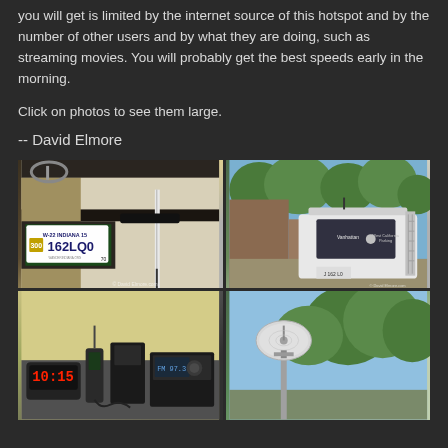you will get is limited by the internet source of this hotspot and by the number of other users and by what they are doing, such as streaming movies. You will probably get the best speeds early in the morning.
Click on photos to see them large.
-- David Elmore
[Figure (photo): Close-up of an Indiana license plate reading 162LQ0 with a pole/antenna mounted nearby on an RV or vehicle]
[Figure (photo): Rear view of a white Sprinter van parked next to a house with trees in background]
[Figure (photo): Interior shot showing radio/communications equipment and a clock showing 10:15]
[Figure (photo): Outdoor shot of a satellite or wifi antenna dish mounted on a pole with trees in background]